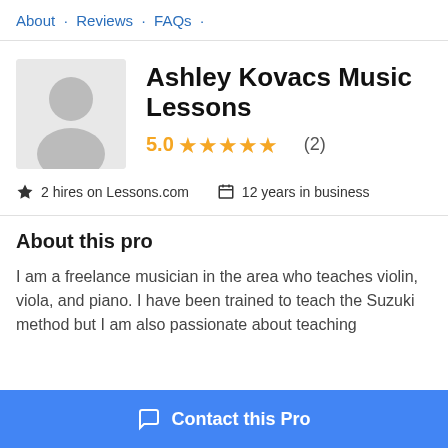About · Reviews · FAQs ·
Ashley Kovacs Music Lessons
5.0 ★★★★★ (2)
2 hires on Lessons.com   12 years in business
About this pro
I am a freelance musician in the area who teaches violin, viola, and piano. I have been trained to teach the Suzuki method but I am also passionate about teaching
Contact this Pro